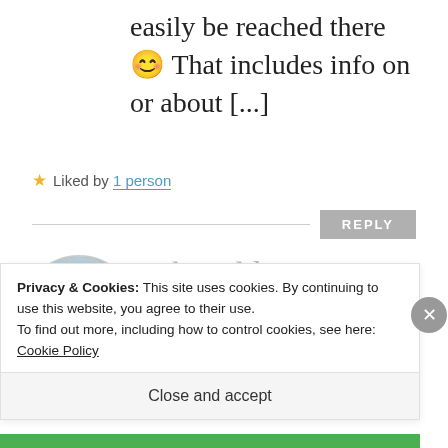easily be reached there 😊 That includes info on or about [...]
★ Liked by 1 person
REPLY
[Figure (photo): Circular avatar photo of a person wearing a bicycle helmet, smiling, outdoors near water. Name 'Adan' visible on clothing.]
The Old American Artist Twitter Excerpt Series, Number
Privacy & Cookies: This site uses cookies. By continuing to use this website, you agree to their use.
To find out more, including how to control cookies, see here: Cookie Policy
Close and accept